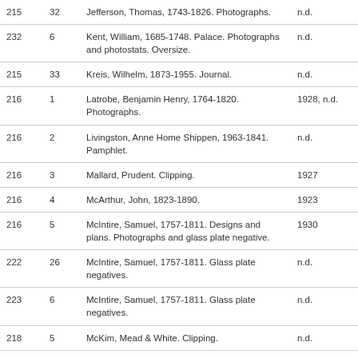| Box | Folder | Description | Date |
| --- | --- | --- | --- |
| 215 | 32 | Jefferson, Thomas, 1743-1826. Photographs. | n.d. |
| 232 | 6 | Kent, William, 1685-1748. Palace. Photographs and photostats. Oversize. | n.d. |
| 215 | 33 | Kreis, Wilhelm, 1873-1955. Journal. | n.d. |
| 216 | 1 | Latrobe, Benjamin Henry, 1764-1820. Photographs. | 1928, n.d. |
| 216 | 2 | Livingston, Anne Home Shippen, 1963-1841. Pamphlet. | n.d. |
| 216 | 3 | Mallard, Prudent. Clipping. | 1927 |
| 216 | 4 | McArthur, John, 1823-1890. | 1923 |
| 216 | 5 | McIntire, Samuel, 1757-1811. Designs and plans. Photographs and glass plate negative. | 1930 |
| 222 | 26 | McIntire, Samuel, 1757-1811. Glass plate negatives. | n.d. |
| 223 | 6 | McIntire, Samuel, 1757-1811. Glass plate negatives. | n.d. |
| 218 | 5 | McKim, Mead & White. Clipping. | n.d. |